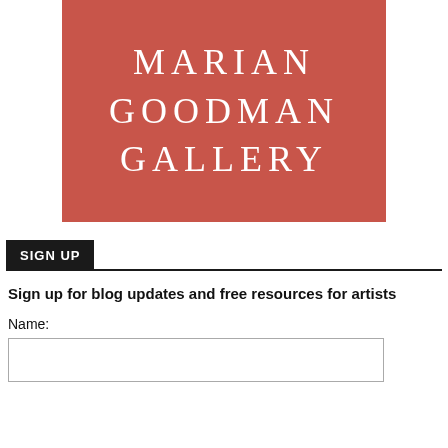[Figure (logo): Marian Goodman Gallery logo — terracotta/red-brown square with white serif uppercase text reading MARIAN GOODMAN GALLERY]
SIGN UP
Sign up for blog updates and free resources for artists
Name: